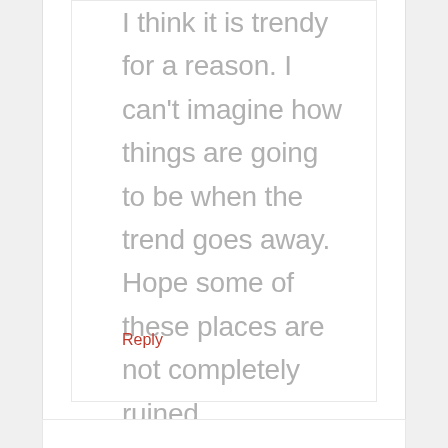I think it is trendy for a reason. I can't imagine how things are going to be when the trend goes away. Hope some of these places are not completely ruined.
Reply